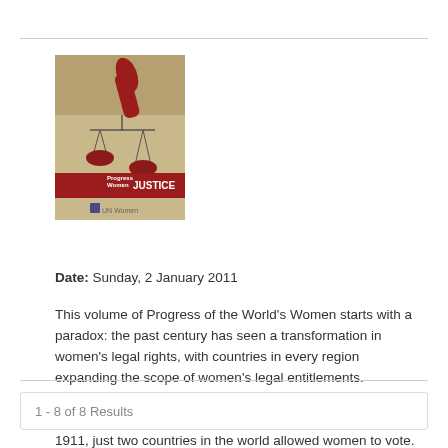[Figure (illustration): Book cover of 'Progress of the World's Women - In Pursuit of Justice' published by UN Women. Tan/beige background with a stylized illustration of a hand holding scales of justice in red, with the text 'Progress Women' and 'JUSTICE' on a red banner.]
In Pursuit of Justice
Date: Sunday, 2 January 2011
This volume of Progress of the World's Women starts with a paradox: the past century has seen a transformation in women's legal rights, with countries in every region expanding the scope of women's legal entitlements. Nevertheless for most of the world's women, the laws that exist on paper do not translate to equality and justice. In 1911, just two countries in the world allowed women to vote. A century later, that right is virtually universal and women are exercising...
1 - 8 of 8 Results